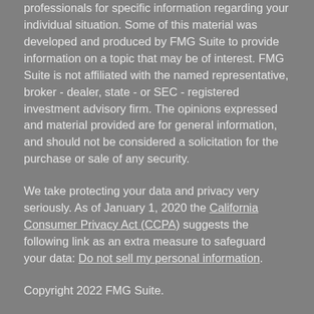professionals for specific information regarding your individual situation. Some of this material was developed and produced by FMG Suite to provide information on a topic that may be of interest. FMG Suite is not affiliated with the named representative, broker - dealer, state - or SEC - registered investment advisory firm. The opinions expressed and material provided are for general information, and should not be considered a solicitation for the purchase or sale of any security.
We take protecting your data and privacy very seriously. As of January 1, 2020 the California Consumer Privacy Act (CCPA) suggests the following link as an extra measure to safeguard your data: Do not sell my personal information.
Copyright 2022 FMG Suite.
Investment Advisor Representative offering securities and advisory services through Cetera Advisor Networks LLC (doing insurance business in CA as CFGAN Insurance Agency LLC), Member FINRA/SIPC, a Broker/Dealer and Registered Investment Adviser. Cetera Advisor Networks LLC and Erman Retirement Advisory are not affiliated companies. Some Advisory Services offered through